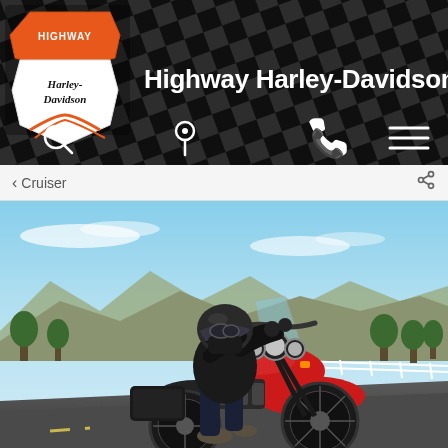[Figure (logo): Highway Harley-Davidson logo — orange shield with eagle on top, white shield shape below with Harley-Davidson script text and a road/curve graphic]
Highway Harley-Davidson®
[Figure (infographic): Navigation icon bar with four white icons on dark checkered background: magnifying glass (search), map pin (location), telephone (call), hamburger menu (navigation)]
‹ Cruiser
[Figure (photo): A motorcycle rider in full black leather gear and helmet riding a red and black Harley-Davidson Heritage Classic/cruiser motorcycle on an open road. Clear blue sky, mountains and trees visible in the background. The motorcycle features a windshield, round headlights, saddlebags, and large chrome engine.]